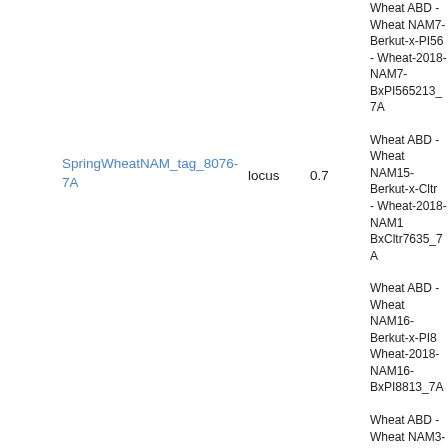SpringWheatNAM_tag_8076-7A
locus
0.7
Wheat ABD - Wheat NAM7-Berkut-x-PI565213 - Wheat-2018-NAM7-BxPI565213_7A
Wheat ABD - Wheat NAM15-Berkut-x-Cltr7635 - Wheat-2018-NAM15-BxCltr7635_7A
Wheat ABD - Wheat NAM16-Berkut-x-PI8813 - Wheat-2018-NAM16-BxPI8813_7A
Wheat ABD - Wheat NAM3-Berkut-x-PI283147 - Wheat-2018-NAM3-BxPI283147_7A
Wheat ABD - Wheat NAM12-Berkut-x-Cltr11223 - Wheat-2018-NAM12-BxCltr11223
Wheat ABD - Wheat NAM6-Berkut-x-PI470817 - Wheat-2018-NAM6-BxPI470817_7A
Wheat ABD - Wheat NAM9-Berkut-x-Vida